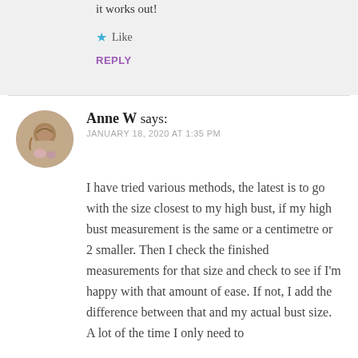it works out!
Like
REPLY
Anne W says:
JANUARY 18, 2020 AT 1:35 PM
I have tried various methods, the latest is to go with the size closest to my high bust, if my high bust measurement is the same or a centimetre or 2 smaller. Then I check the finished measurements for that size and check to see if I'm happy with that amount of ease. If not, I add the difference between that and my actual bust size. A lot of the time I only need to